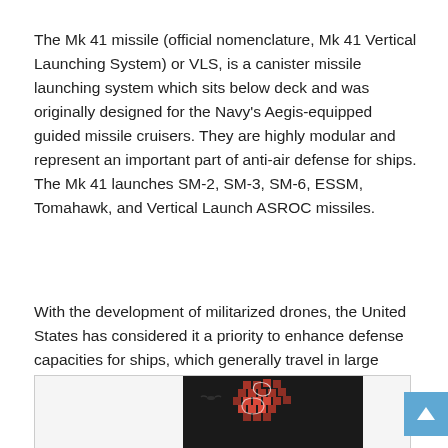The Mk 41 missile (official nomenclature, Mk 41 Vertical Launching System) or VLS, is a canister missile launching system which sits below deck and was originally designed for the Navy's Aegis-equipped guided missile cruisers. They are highly modular and represent an important part of anti-air defense for ships.  The Mk 41 launches SM-2, SM-3, SM-6, ESSM, Tomahawk, and Vertical Launch ASROC missiles.
With the development of militarized drones, the United States has considered it a priority to enhance defense capacities for ships, which generally travel in large clusters and provide collective defense.
[Figure (map): Partial map image showing European/world region with red and dark coloring, appearing to be a geographic heat map or coverage map]